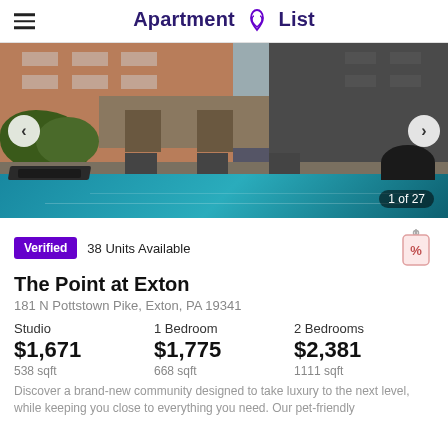Apartment List
[Figure (photo): Swimming pool area with lounge chairs, luxury apartment building with brick facade in background, landscaping with shrubs and trees]
Verified   38 Units Available
The Point at Exton
181 N Pottstown Pike, Exton, PA 19341
| Studio | 1 Bedroom | 2 Bedrooms |
| --- | --- | --- |
| $1,671 | $1,775 | $2,381 |
| 538 sqft | 668 sqft | 1111 sqft |
Discover a brand-new community designed to take luxury to the next level, while keeping you close to everything you need. Our pet-friendly